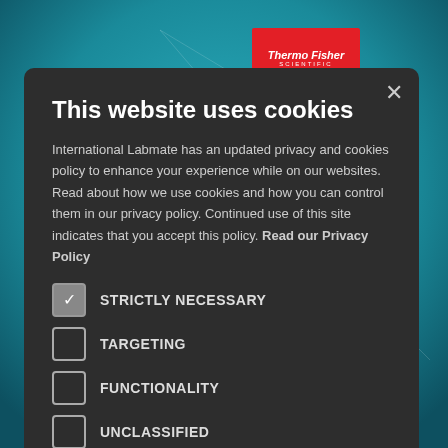[Figure (screenshot): Background showing a teal/blue scientific network diagram with nodes and connections, with a red Thermo Fisher Scientific logo badge in the upper right and a dark blue 'IC Symposium' text at the bottom.]
This website uses cookies
International Labmate has an updated privacy and cookies policy to enhance your experience while on our websites. Read about how we use cookies and how you can control them in our privacy policy. Continued use of this site indicates that you accept this policy. Read our Privacy Policy
STRICTLY NECESSARY
TARGETING
FUNCTIONALITY
UNCLASSIFIED
I AGREE
DECLINE ALL